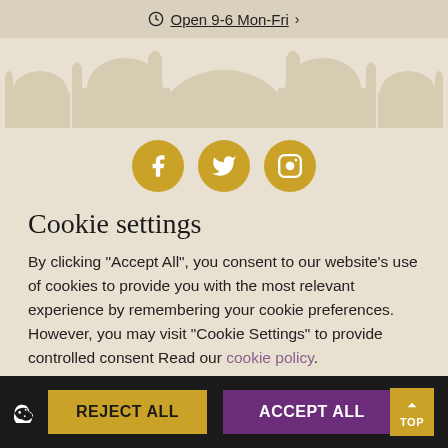Open 9-6 Mon-Fri
[Figure (illustration): Mosque silhouette decorative banner in beige/tan tones]
[Figure (infographic): Three golden circular social media icons: Facebook, Twitter, Instagram]
Cookie settings
By clicking "Accept All", you consent to our website's use of cookies to provide you with the most relevant experience by remembering your cookie preferences. However, you may visit "Cookie Settings" to provide controlled consent Read our cookie policy.
Cookie settings
REJECT ALL   ACCEPT ALL